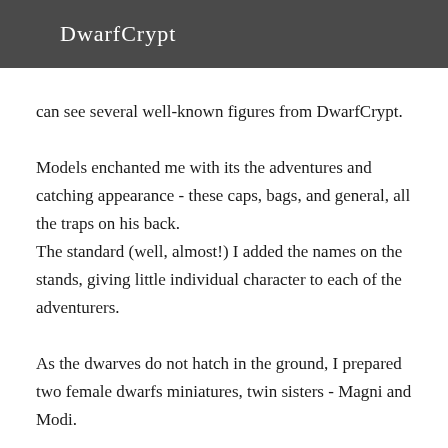DwarfCrypt
can see several well-known figures from DwarfCrypt.
Models enchanted me with its the adventures and catching appearance - these caps, bags, and general, all the traps on his back.
The standard (well, almost!) I added the names on the stands, giving little individual character to each of the adventurers.
As the dwarves do not hatch in the ground, I prepared two female dwarfs miniatures, twin sisters - Magni and Modi.
Welcome to Part 1!